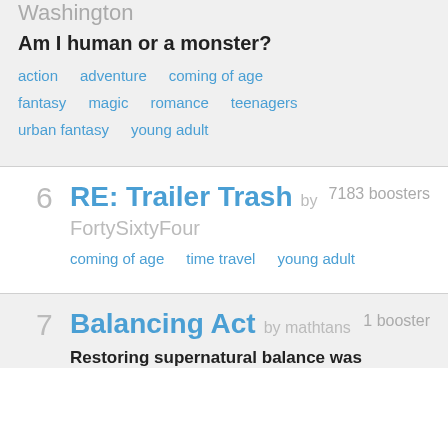Washington
Am I human or a monster?
action   adventure   coming of age
fantasy   magic   romance   teenagers
urban fantasy   young adult
6   RE: Trailer Trash by FortySixtyFour   7183 boosters
coming of age   time travel   young adult
7   Balancing Act by mathtans   1 booster
Restoring supernatural balance was